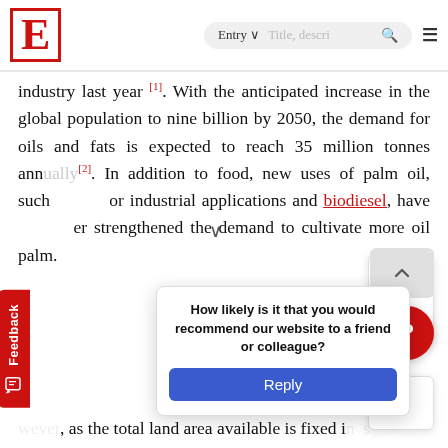E [logo] | Entry ▾ | [search bar] | ☰
industry last year [1]. With the anticipated increase in the global population to nine billion by 2050, the demand for oils and fats is expected to reach 35 million tonnes ann[ually] [2]. In addition to food, new uses of palm oil, such [as] for industrial applications and biodiesel, have [fur]ther strengthened the demand to cultivate more oil palm.
[Ho]wever, as the total land area available is fixed i[t mean]s more crops have to be produced within the sam[e are]a. [In o]rder to fully optimize land usage for oil palm cro[ps, o]il palm research has been focused on sustainable planta[tion an]d [dev]elopm[ent ...] research advance[ments in ...] bio[mass] m[anagement and] cultivatio[n ...] [ener]gy and scrutiny [... ] has been
How likely is it that you would recommend our website to a friend or colleague?
Reply